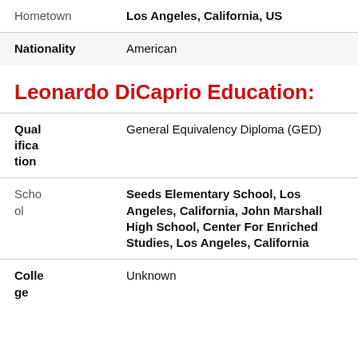| Field | Value |
| --- | --- |
| Hometown | Los Angeles, California, US |
| Nationality | American |
Leonardo DiCaprio Education:
| Field | Value |
| --- | --- |
| Qualification | General Equivalency Diploma (GED) |
| School | Seeds Elementary School, Los Angeles, California, John Marshall High School, Center For Enriched Studies, Los Angeles, California |
| College | Unknown |